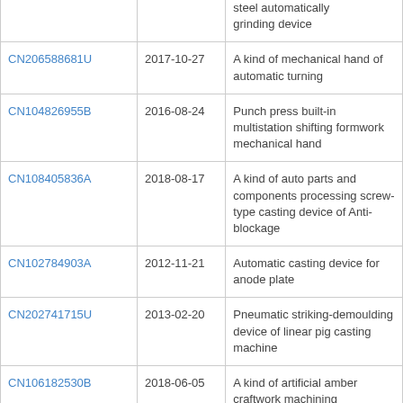| Patent ID | Date | Description |
| --- | --- | --- |
|  |  | steel automatically grinding device |
| CN206588681U | 2017-10-27 | A kind of mechanical hand of automatic turning |
| CN104826955B | 2016-08-24 | Punch press built-in multistation shifting formwork mechanical hand |
| CN108405836A | 2018-08-17 | A kind of auto parts and components processing screw-type casting device of Anti-blockage |
| CN102784903A | 2012-11-21 | Automatic casting device for anode plate |
| CN202741715U | 2013-02-20 | Pneumatic striking-demoulding device of linear pig casting machine |
| CN106182530B | 2018-06-05 | A kind of artificial amber craftwork machining production line |
|  |  |  |